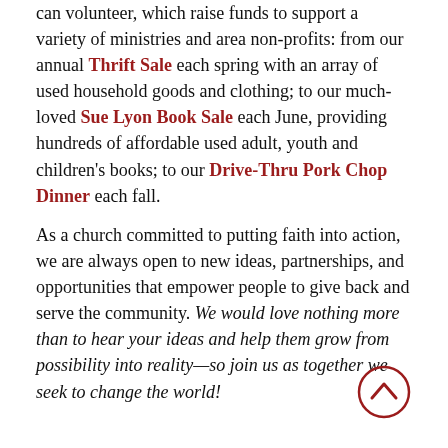can volunteer, which raise funds to support a variety of ministries and area non-profits: from our annual Thrift Sale each spring with an array of used household goods and clothing; to our much-loved Sue Lyon Book Sale each June, providing hundreds of affordable used adult, youth and children's books; to our Drive-Thru Pork Chop Dinner each fall.
As a church committed to putting faith into action, we are always open to new ideas, partnerships, and opportunities that empower people to give back and serve the community. We would love nothing more than to hear your ideas and help them grow from possibility into reality—so join us as together we seek to change the world!
[Figure (other): A circular scroll-up / back-to-top button with a dark red border and an upward-pointing chevron arrow inside.]